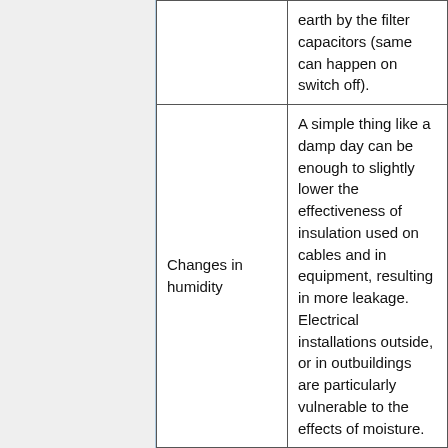| Cause | Description |
| --- | --- |
|  | earth by the filter capacitors (same can happen on switch off). |
| Changes in humidity | A simple thing like a damp day can be enough to slightly lower the effectiveness of insulation used on cables and in equipment, resulting in more leakage. Electrical installations outside, or in outbuildings are particularly vulnerable to the effects of moisture. |
| More appliances in use than | Using more appliances than normal or an infrequently experienced combination of them |